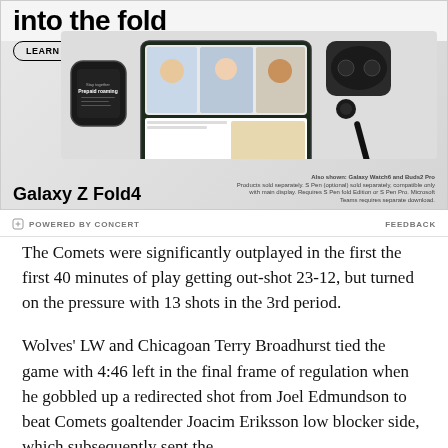[Figure (photo): Samsung Galaxy Z Fold4 advertisement showing the device along with a Galaxy Watch6 and Buds2 Pro. The ad includes a 'LEARN MORE' button and fine print text about products sold separately.]
POWERED BY CONCERT   FEEDBACK
The Comets were significantly outplayed in the first the first 40 minutes of play getting out-shot 23-12, but turned on the pressure with 13 shots in the 3rd period.
Wolves' LW and Chicagoan Terry Broadhurst tied the game with 4:46 left in the final frame of regulation when he gobbled up a redirected shot from Joel Edmundson to beat Comets goaltender Joacim Eriksson low blocker side, which subsequently sent the